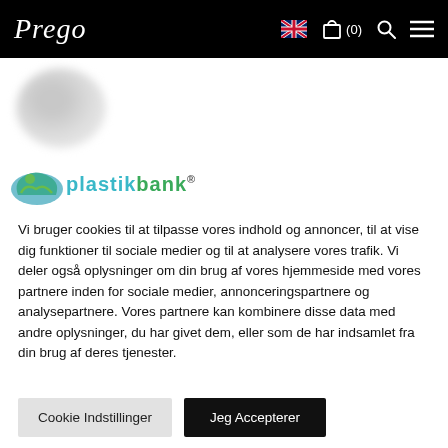Prego — navigation bar with language selector, cart (0), search, and menu icons
[Figure (logo): Plastikbank logo — teal/green circular icon with stylized figure and text 'plastikbank®' partially visible]
Vi bruger cookies til at tilpasse vores indhold og annoncer, til at vise dig funktioner til sociale medier og til at analysere vores trafik. Vi deler også oplysninger om din brug af vores hjemmeside med vores partnere inden for sociale medier, annonceringspartnere og analysepartnere. Vores partnere kan kombinere disse data med andre oplysninger, du har givet dem, eller som de har indsamlet fra din brug af deres tjenester.
Cookie Indstillinger
Jeg Accepterer